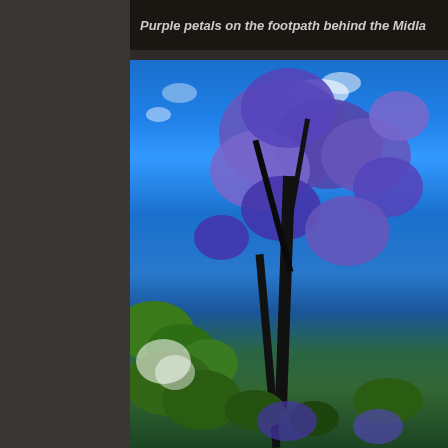Purple petals on the footpath behind the Midla...
[Figure (photo): A jacaranda tree with vivid purple blossoms photographed from below against a bright blue sky with white clouds. Green shrubs and foliage fill the lower portion of the image.]